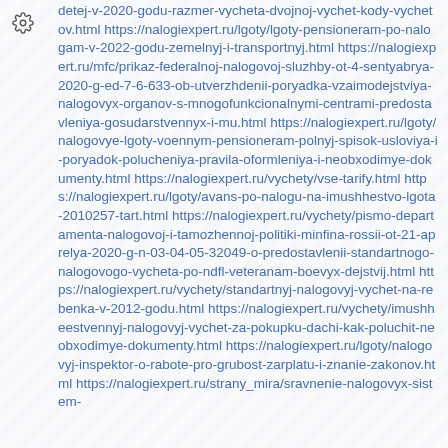detej-v-2020-godu-razmer-vycheta-dvojnoj-vychet-kody-vychetov.html https://nalogiexpert.ru/lgoty/lgoty-pensioneram-po-nalogam-v-2022-godu-zemelnyj-i-transportnyj.html https://nalogiexpert.ru/mfc/prikaz-federalnoj-nalogovoj-sluzhby-ot-4-sentyabrya-2020-g-ed-7-6-633-ob-utverzhdenii-poryadka-vzaimodejstviya-nalogovyx-organov-s-mnogofunkcionalnymi-centrami-predostavleniya-gosudarstvennyx-i-mu.html https://nalogiexpert.ru/lgoty/nalogovye-lgoty-voennym-pensioneram-polnyj-spisok-usloviya-i-poryadok-polucheniya-pravila-oformleniya-i-neobxodimye-dokumenty.html https://nalogiexpert.ru/vychety/vse-tarify.html https://nalogiexpert.ru/lgoty/avans-po-nalogu-na-imushhestvo-lgota-2010257-tart.html https://nalogiexpert.ru/vychety/pismo-departamenta-nalogovoj-i-tamozhennoj-politiki-minfina-rossii-ot-21-aprelya-2020-g-n-03-04-05-32049-o-predostavlenii-standartnogo-nalogovogo-vycheta-po-ndfl-veteranam-boevyx-dejstvij.html https://nalogiexpert.ru/vychety/standartnyj-nalogovyj-vychet-na-rebenka-v-2012-godu.html https://nalogiexpert.ru/vychety/imushheestvennyj-nalogovyj-vychet-za-pokupku-dachi-kak-poluchit-neobxodimye-dokumenty.html https://nalogiexpert.ru/lgoty/nalogovyj-inspektor-o-rabote-pro-grubost-zarplatu-i-znanie-zakonov.html https://nalogiexpert.ru/strany_mira/sravnenie-nalogovyx-sistem-